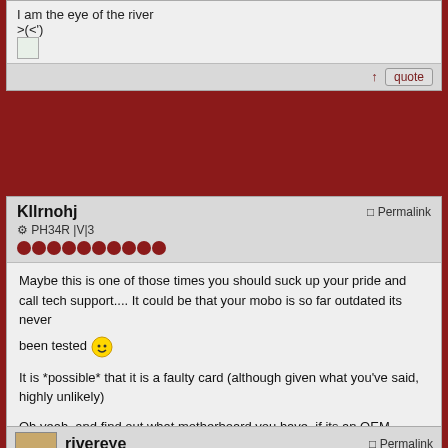I am the eye of the river
>(<')
quote
Kllrnohj
⚙ PH34R |V|3
Permalink
Maybe this is one of those times you should suck up your pride and call tech support.... It could be that your mobo is so far outdated its never been tested

It is *possible* that it is a faulty card (although given what you've said, highly unlikely)

Oh yeah, and find out what motherboard you have. if its an OEM system you can look it up on the manufacturers site, often using either the model or serial number, otherwise the BIOS or POST screen should tell you the model. Maybe a newer BIOS was released that addressed such issues...

I got one more thing to try. In the BIOS, look for the Init Display First, and try playing around with that. I've heard that changing that can sometimes resolve wierd display issues
There are only two kinds of programming languages: those people always bitch about and those nobody uses. (Bjarne Stroustrup)
quote
rivereye
Permalink